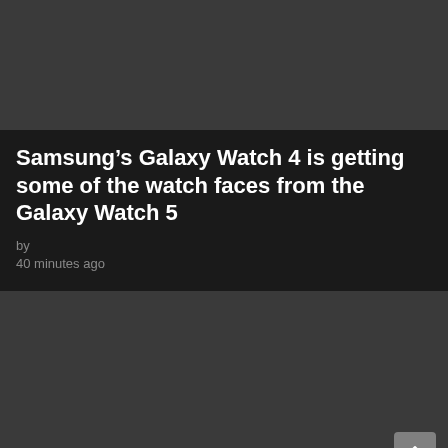[Figure (photo): Dark gray rectangular image placeholder at top of page]
Samsung’s Galaxy Watch 4 is getting some of the watch faces from the Galaxy Watch 5
by
40 minutes ago
[Figure (photo): Dark gray rectangular image placeholder at bottom of page]